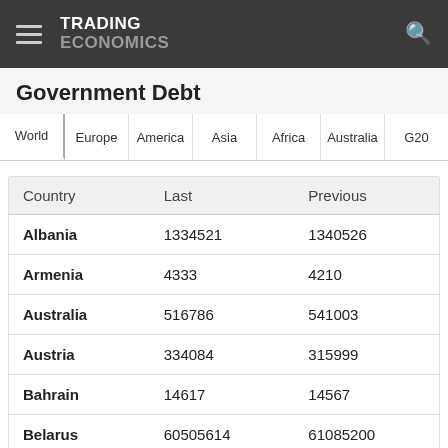TRADING ECONOMICS
Government Debt
World  Europe  America  Asia  Africa  Australia  G20
| Country | Last | Previous |
| --- | --- | --- |
| Albania | 1334521 | 1340526 |
| Armenia | 4333 | 4210 |
| Australia | 516786 | 541003 |
| Austria | 334084 | 315999 |
| Bahrain | 14617 | 14567 |
| Belarus | 60505614 | 61085200 |
| Belgium | 624295 | 651173 |